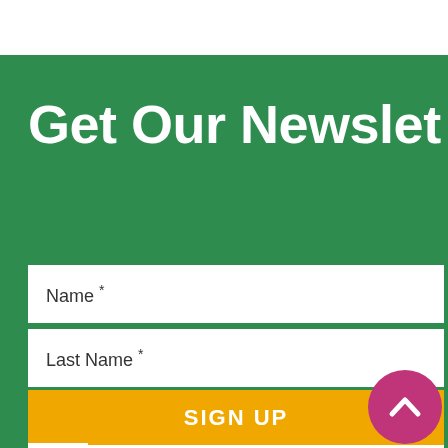Get Our Newsletter
Name *
Last Name *
Email *
SIGN UP